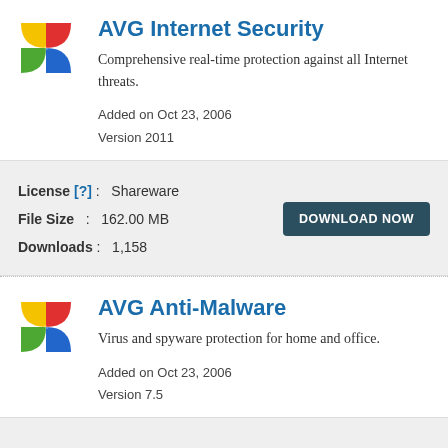[Figure (logo): AVG logo with four colored quadrants (red, yellow, green, blue) arranged in a pinwheel pattern]
AVG Internet Security
Comprehensive real-time protection against all Internet threats.
Added on Oct 23, 2006
Version 2011
License [?] :   Shareware
File Size   :   162.00 MB
Downloads :   1,158
[Figure (logo): Download Now button - dark teal rounded rectangle with white uppercase text]
[Figure (logo): AVG logo with four colored quadrants (red, yellow, green, blue) arranged in a pinwheel pattern]
AVG Anti-Malware
Virus and spyware protection for home and office.
Added on Oct 23, 2006
Version 7.5